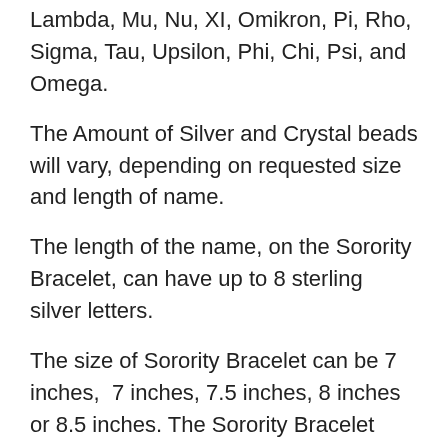Lambda, Mu, Nu, XI, Omikron, Pi, Rho, Sigma, Tau, Upsilon, Phi, Chi, Psi, and Omega.
The Amount of Silver and Crystal beads will vary, depending on requested size and length of name.
The length of the name, on the Sorority Bracelet, can have up to 8 sterling silver letters.
The size of Sorority Bracelet can be 7 inches, 7 inches, 7.5 inches, 8 inches or 8.5 inches. The Sorority Bracelet also comes with a 1 inch extender.
Our Sorority Bracelet is a gift that will last a lifetime.